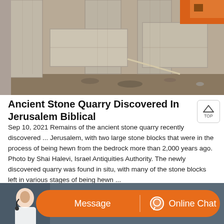[Figure (photo): Photograph of an ancient stone quarry in Jerusalem showing large stone blocks and pillars hewn from bedrock, with an orange construction element visible in the upper right.]
Ancient Stone Quarry Discovered In Jerusalem Biblical
Sep 10, 2021 Remains of the ancient stone quarry recently discovered ... Jerusalem, with two large stone blocks that were in the process of being hewn from the bedrock more than 2,000 years ago. Photo by Shai Halevi, Israel Antiquities Authority. The newly discovered quarry was found in situ, with many of the stone blocks left in various stages of being hewn ...
[Figure (screenshot): Bottom bar showing a customer service agent photo on the left, and two orange buttons: 'Message' on the left and 'Online Chat' with a headset icon on the right.]